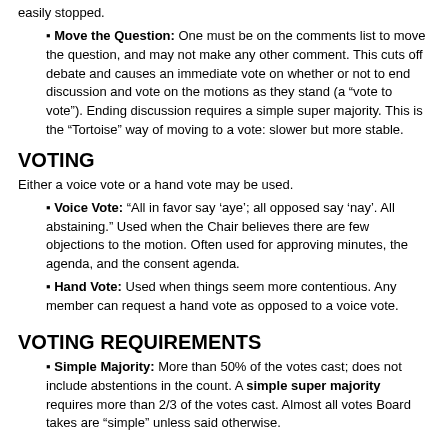easily stopped. Move the Question: One must be on the comments list to move the question, and may not make any other comment. This cuts off debate and causes an immediate vote on whether or not to end discussion and vote on the motions as they stand (a “vote to vote”). Ending discussion requires a simple super majority. This is the “Tortoise” way of moving to a vote: slower but more stable.
VOTING
Either a voice vote or a hand vote may be used.
Voice Vote: “All in favor say ‘aye’; all opposed say ‘nay’. All abstaining.” Used when the Chair believes there are few objections to the motion. Often used for approving minutes, the agenda, and the consent agenda.
Hand Vote: Used when things seem more contentious. Any member can request a hand vote as opposed to a voice vote.
VOTING REQUIREMENTS
Simple Majority: More than 50% of the votes cast; does not include abstentions in the count. A simple super majority requires more than 2/3 of the votes cast. Almost all votes Board takes are “simple” unless said otherwise.